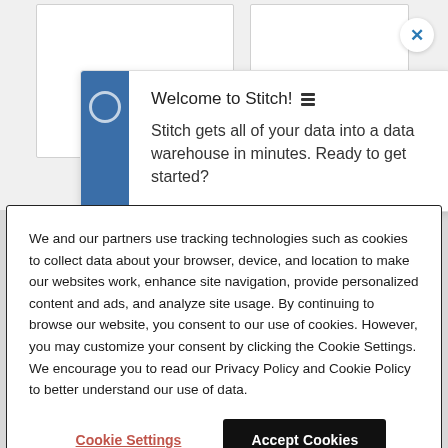[Figure (screenshot): Background showing web page with two white card panels, a close button (X), a Stitch welcome popup with blue sidebar and menu icon, and a 'Post' label.]
Welcome to Stitch! ☰
Stitch gets all of your data into a data warehouse in minutes. Ready to get started?
We and our partners use tracking technologies such as cookies to collect data about your browser, device, and location to make our websites work, enhance site navigation, provide personalized content and ads, and analyze site usage. By continuing to browse our website, you consent to our use of cookies. However, you may customize your consent by clicking the Cookie Settings. We encourage you to read our Privacy Policy and Cookie Policy to better understand our use of data.
Cookie Settings
Accept Cookies